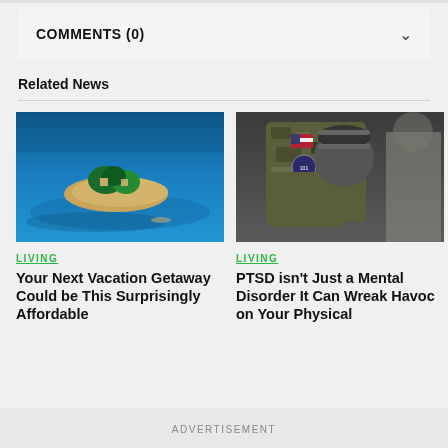COMMENTS (0)
Related News
[Figure (photo): Aerial view of a small tropical island surrounded by blue ocean water]
LIVING
Your Next Vacation Getaway Could be This Surprisingly Affordable
[Figure (photo): Soldier in camouflage uniform embracing a child wearing a striped beanie hat]
LIVING
PTSD isn't Just a Mental Disorder It Can Wreak Havoc on Your Physical
ADVERTISEMENT